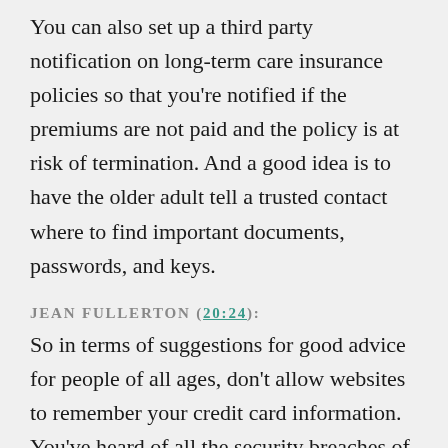You can also set up a third party notification on long-term care insurance policies so that you're notified if the premiums are not paid and the policy is at risk of termination. And a good idea is to have the older adult tell a trusted contact where to find important documents, passwords, and keys.
JEAN FULLERTON (20:24):
So in terms of suggestions for good advice for people of all ages, don't allow websites to remember your credit card information. You've heard of all the security breaches of well-known companies. So it's worth the time to read type the information in the future to protect from the company losing